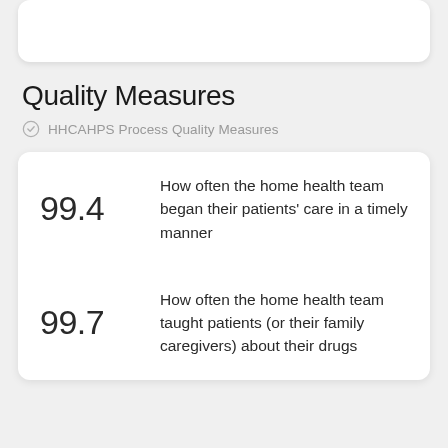Quality Measures
HHCAHPS Process Quality Measures
99.4 — How often the home health team began their patients' care in a timely manner
99.7 — How often the home health team taught patients (or their family caregivers) about their drugs